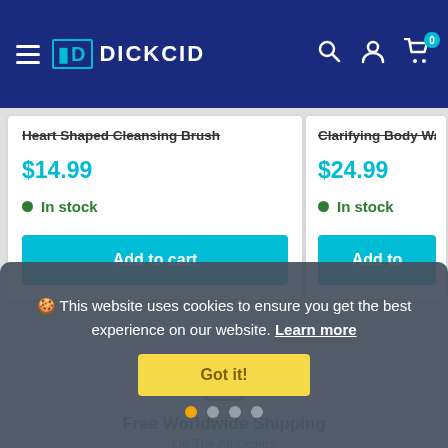DICKCID — navigation bar with hamburger menu, logo, search, account, and cart icons (cart badge: 0)
Heart Shaped Cleansing Brush
$14.99
In stock
Add to cart
Clarifying Body Wash
$24.99
In stock
Add to
🍪 This website uses cookies to ensure you get the best experience on our website. Learn more
Got it!
Free Worldwide Shipping
On The All Orders